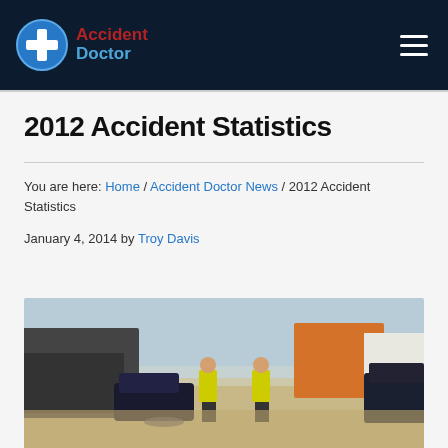Accident Doctor
2012 Accident Statistics
You are here: Home / Accident Doctor News / 2012 Accident Statistics
January 4, 2014 by Troy Davis
[Figure (photo): Highway accident scene showing multiple crashed vehicles including trucks and cars, with rescue workers in yellow safety vests at the scene]